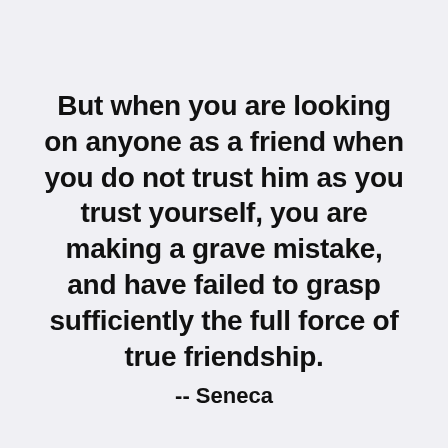But when you are looking on anyone as a friend when you do not trust him as you trust yourself, you are making a grave mistake, and have failed to grasp sufficiently the full force of true friendship.
-- Seneca